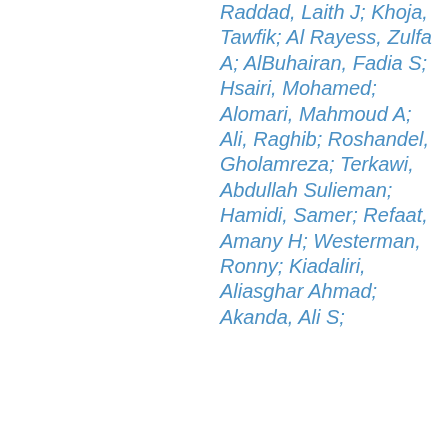Raddad, Laith J; Khoja, Tawfik; Al Rayess, Zulfa A; AlBuhairan, Fadia S; Hsairi, Mohamed; Alomari, Mahmoud A; Ali, Raghib; Roshandel, Gholamreza; Terkawi, Abdullah Sulieman; Hamidi, Samer; Refaat, Amany H; Westerman, Ronny; Kiadaliri, Aliasghar Ahmad; Akanda, Ali S;